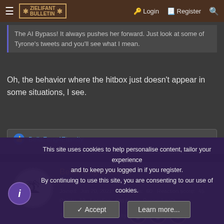≡  [ZIELIFANT BULLETIN] Login  Register  🔍
The AI Bypass! It always pushes her forward. Just look at some of Tyrone's tweets and you'll see what I mean.
Oh, the behavior where the hitbox just doesn't appear in some situations, I see.
👍 BellaFeng4Eternity
BellaFeng4Eternity
Feng and Jam Waiting Room
Joined: Jun 20, 2021  Messages: 60  Reaction score: 45
Points: 18  Location: Old Forge, Pennsylvania
Steam: BellaFeng4Eternity
This site uses cookies to help personalise content, tailor your experience and to keep you logged in if you register.
By continuing to use this site, you are consenting to our use of cookies.
✓ Accept   Learn more...